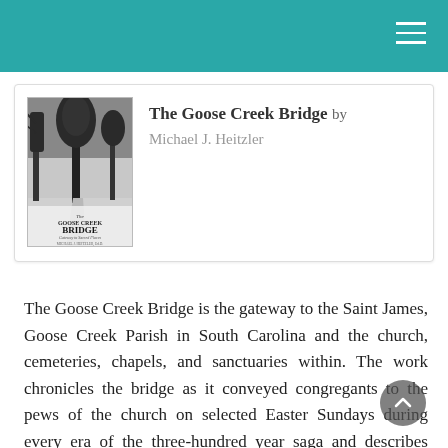The Goose Creek Bridge by Michael J. Heitzler
[Figure (photo): Black and white photo of a tree-lined path or bridge in winter, used as book cover for 'The Goose Creek Bridge' by Michael J. Heitzler]
The Goose Creek Bridge is the gateway to the Saint James, Goose Creek Parish in South Carolina and the church, cemeteries, chapels, and sanctuaries within. The work chronicles the bridge as it conveyed congregants to the pews of the church on selected Easter Sundays during every era of the three-hundred year saga and describes from that perspective, key personalities and their salient institutions transcending